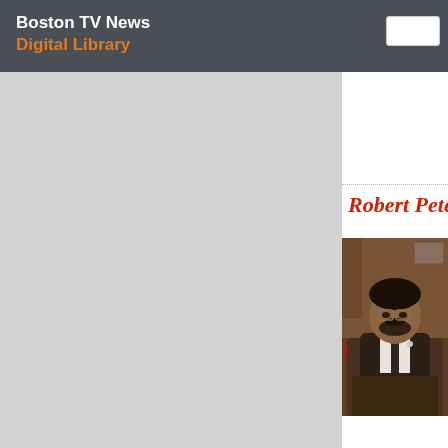Boston TV News Digital Library
[Figure (photo): Gray sidebar panel, left portion of content area]
Robert Pete
[Figure (photo): Photo of a man with glasses and beard wearing a dark suit, seated at a desk with flowers in background]